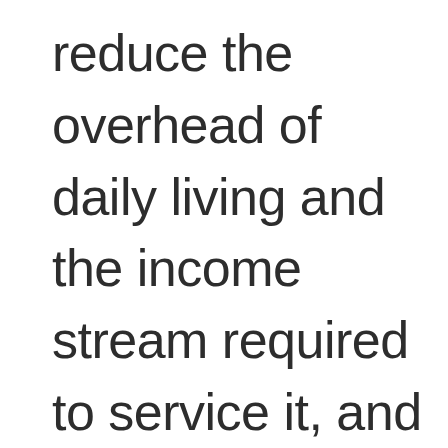reduce the overhead of daily living and the income stream required to service it, and to increase their